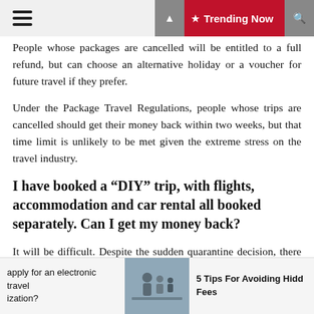Trending Now
People whose packages are cancelled will be entitled to a full refund, but can choose an alternative holiday or a voucher for future travel if they prefer.
Under the Package Travel Regulations, people whose trips are cancelled should get their money back within two weeks, but that time limit is unlikely to be met given the extreme stress on the travel industry.
I have booked a “DIY” trip, with flights, accommodation and car rental all booked separately. Can I get my money back?
It will be difficult. Despite the sudden quarantine decision, there is every chance that your flight will still be operating. After all, there are plenty of people who will be expecting to be flown home from Spain, and so many
apply for an electronic travel ization? | 5 Tips For Avoiding Hidd Fees